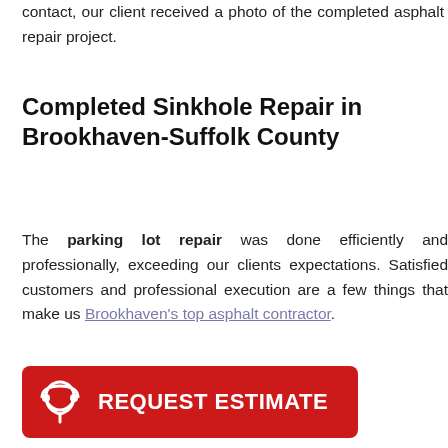contact, our client received a photo of the completed asphalt repair project.
Completed Sinkhole Repair in Brookhaven-Suffolk County
The parking lot repair was done efficiently and professionally, exceeding our clients expectations. Satisfied customers and professional execution are a few things that make us Brookhaven's top asphalt contractor.
[Figure (other): Red call-to-action button with chat icon and text REQUEST ESTIMATE]